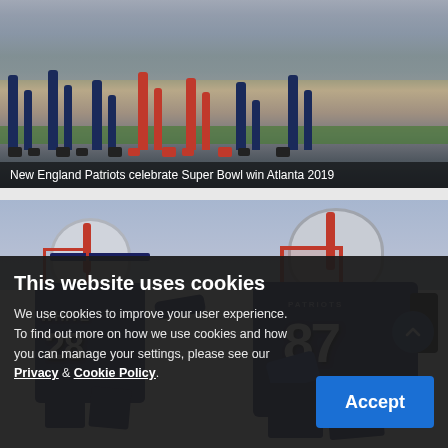[Figure (photo): New England Patriots players celebrating Super Bowl win, showing legs and feet of multiple players walking on the field in Atlanta 2019]
New England Patriots celebrate Super Bowl win Atlanta 2019
[Figure (photo): Two New England Patriots players in navy blue uniforms — player #28 James White and player #87 Rob Gronkowski — celebrating during playoffs 2019]
This website uses cookies
We use cookies to improve your user experience. To find out more on how we use cookies and how you can manage your settings, please see our Privacy & Cookie Policy.